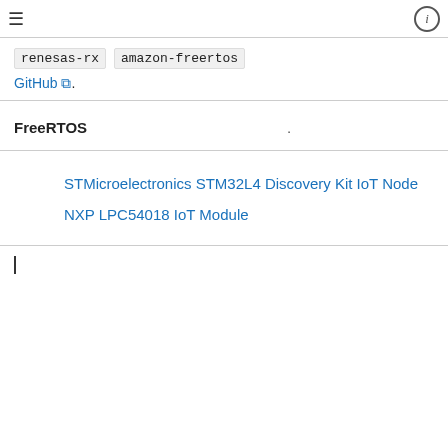≡  ⓘ
renesas-rx   amazon-freertos GitHub.
FreeRTOS .
STMicroelectronics STM32L4 Discovery Kit IoT Node
NXP LPC54018 IoT Module
|